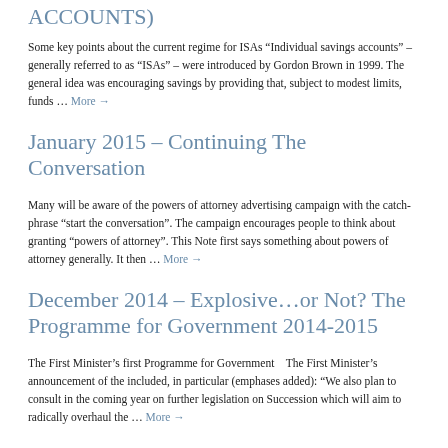ACCOUNTS)
Some key points about the current regime for ISAs “Individual savings accounts” – generally referred to as “ISAs” – were introduced by Gordon Brown in 1999. The general idea was encouraging savings by providing that, subject to modest limits, funds … More →
January 2015 – Continuing The Conversation
Many will be aware of the powers of attorney advertising campaign with the catch-phrase “start the conversation”. The campaign encourages people to think about granting “powers of attorney”. This Note first says something about powers of attorney generally. It then … More →
December 2014 – Explosive…or Not? The Programme for Government 2014-2015
The First Minister’s first Programme for Government   The First Minister’s announcement of the included, in particular (emphases added): “We also plan to consult in the coming year on further legislation on Succession which will aim to radically overhaul the … More →